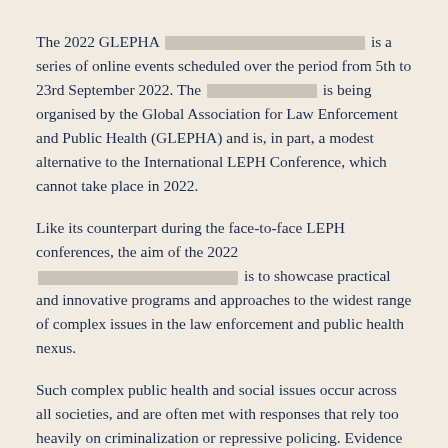The 2022 GLEPHA [REDACTED] is a series of online events scheduled over the period from 5th to 23rd September 2022. The [REDACTED] is being organised by the Global Association for Law Enforcement and Public Health (GLEPHA) and is, in part, a modest alternative to the International LEPH Conference, which cannot take place in 2022.
Like its counterpart during the face-to-face LEPH conferences, the aim of the 2022 [REDACTED] is to showcase practical and innovative programs and approaches to the widest range of complex issues in the law enforcement and public health nexus.
Such complex public health and social issues occur across all societies, and are often met with responses that rely too heavily on criminalization or repressive policing. Evidence is strong that joined-up responses, involving partnerships and collaborations, provide more effective and humane responses. Issues such as violence (especially gender-based and domestic), mental health crises, sex work, alcohol and illicit drug use, abortion, forced migration and human trafficking, disability and unintentional